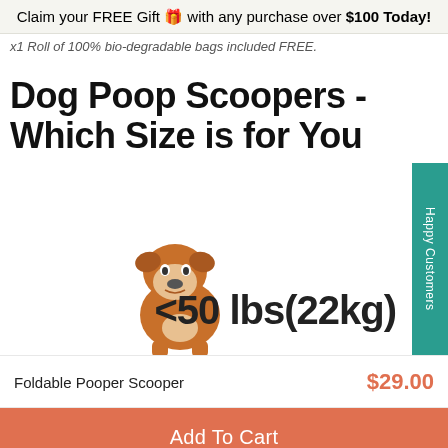Claim your FREE Gift 🎁 with any purchase over $100 Today!
x1 Roll of 100% bio-degradable bags included FREE.
Dog Poop Scoopers - Which Size is for You
[Figure (illustration): A sitting English Bulldog with text '<50 lbs(22kg)' to its right, indicating the scooper size recommendation. A green 'Happy Customers' tab is on the right side.]
Foldable Pooper Scooper
$29.00
Add To Cart